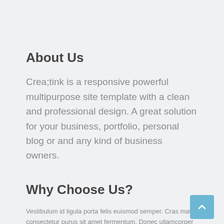About Us
Crea;tink is a responsive powerful multipurpose site template with a clean and professional design. A great solution for your business, portfolio, personal blog or and any kind of business owners.
Why Choose Us?
Vestibulum id ligula porta felis euismod semper. Cras mattis consectetur purus sit amet fermentum. Donec ullamcorper